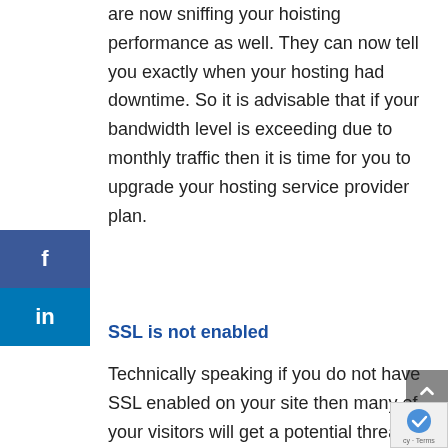are now sniffing your hoisting performance as well. They can now tell you exactly when your hosting had downtime. So it is advisable that if your bandwidth level is exceeding due to monthly traffic then it is time for you to upgrade your hosting service provider plan.
SSL is not enabled
Technically speaking if you do not have SSL enabled on your site then many of your visitors will get a potential threat